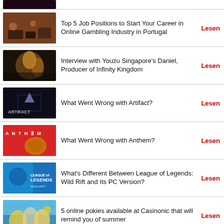Top 5 Job Positions to Start Your Career in Online Gambling Industry in Portugal
Interview with Youzu Singapore's Daniel, Producer of Infinity Kingdom
What Went Wrong with Artifact?
What Went Wrong with Anthem?
What's Different Between League of Legends: Wild Rift and Its PC Version?
5 online pokies available at Casinonic that will remind you of summer
Why Genshin Impact Deserves All the Acclaim